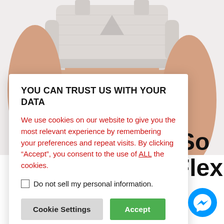[Figure (photo): Product photo of a woman wearing a light grey sports bra, torso visible from shoulders to waist, white/light background.]
YOU CAN TRUST US WITH YOUR DATA
We use cookies on our website to give you the most relevant experience by remembering your preferences and repeat visits. By clicking “Accept”, you consent to the use of ALL the cookies.
Do not sell my personal information.
Cookie Settings
Accept
Oh So SportFlex Bra
[Figure (logo): Blue circular Messenger (Facebook) chat icon button in the bottom right corner.]